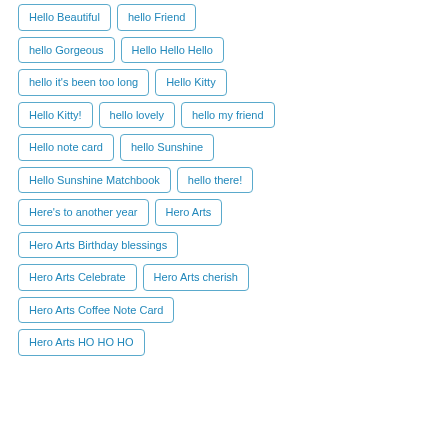Hello Beautiful
hello Friend
hello Gorgeous
Hello Hello Hello
hello it's been too long
Hello Kitty
Hello Kitty!
hello lovely
hello my friend
Hello note card
hello Sunshine
Hello Sunshine Matchbook
hello there!
Here's to another year
Hero Arts
Hero Arts Birthday blessings
Hero Arts Celebrate
Hero Arts cherish
Hero Arts Coffee Note Card
Hero Arts HO HO HO